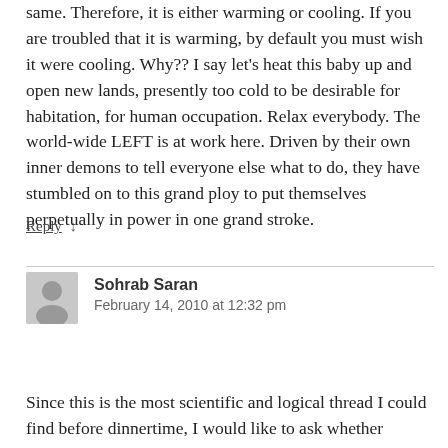same. Therefore, it is either warming or cooling. If you are troubled that it is warming, by default you must wish it were cooling. Why?? I say let's heat this baby up and open new lands, presently too cold to be desirable for habitation, for human occupation. Relax everybody. The world-wide LEFT is at work here. Driven by their own inner demons to tell everyone else what to do, they have stumbled on to this grand ploy to put themselves perpetually in power in one grand stroke.
Reply ↓
Sohrab Saran
February 14, 2010 at 12:32 pm
Since this is the most scientific and logical thread I could find before dinnertime, I would like to ask whether anyone can